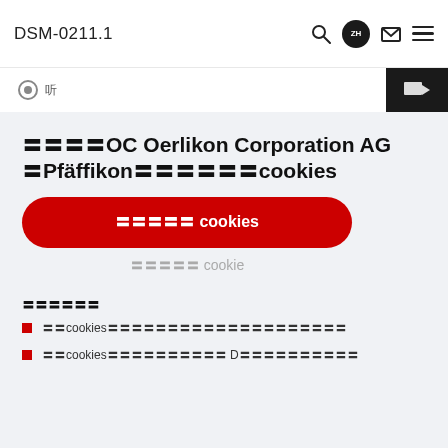DSM-0211.1
「听」
㊙㊙㊙㊙OC Oerlikon Corporation AG ✉Pfäffikon㊙㊙㊙㊙㊙cookies
㊙㊙㊙㊙㊙ cookies
㊙㊙㊙㊙㊙ cookie
㊙㊙㊙㊙㊙㊙
㊙㊙cookies㊙㊙㊙㊙㊙㊙㊙㊙㊙㊙㊙㊙㊙㊙㊙㊙㊙㊙㊙㊙
㊙㊙cookies㊙㊙㊙㊙㊙㊙㊙㊙㊙㊙ D㊙㊙㊙㊙㊙㊙㊙㊙㊙㊙